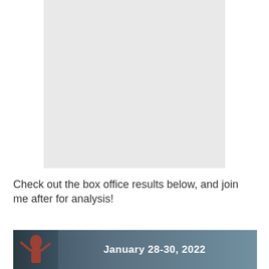[Figure (photo): A large light grey rectangle occupying the upper portion of the page, representing a placeholder image or missing image area.]
Check out the box office results below, and join me after for analysis!
[Figure (photo): A banner image with a dark blue-grey background showing a figure on the left side and the text 'January 28-30, 2022' on the right side in white bold font.]